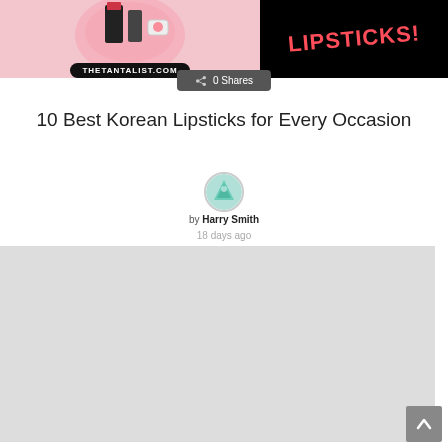[Figure (photo): Top banner split into two parts: left side shows lipstick products on a pink background with 'THETANTALIST.COM' label in a black pill shape; right side shows 'LIPSTICKS!' text in red on black background]
0 Shares
10 Best Korean Lipsticks for Every Occasion
[Figure (photo): Round author avatar icon showing a cartoon character with teal/green color]
by Harry Smith
18 days ago
[Figure (photo): Large light gray placeholder image area for article content]